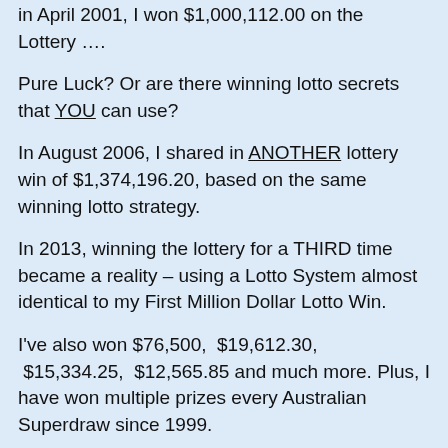in April 2001, I won $1,000,112.00 on the Lottery ….
Pure Luck? Or are there winning lotto secrets that YOU can use?
In August 2006, I shared in ANOTHER lottery win of $1,374,196.20, based on the same winning lotto strategy.
In 2013, winning the lottery for a THIRD time became a reality – using a Lotto System almost identical to my First Million Dollar Lotto Win.
I've also won $76,500,  $19,612.30,  $15,334.25,  $12,565.85 and much more. Plus, I have won multiple prizes every Australian Superdraw since 1999.